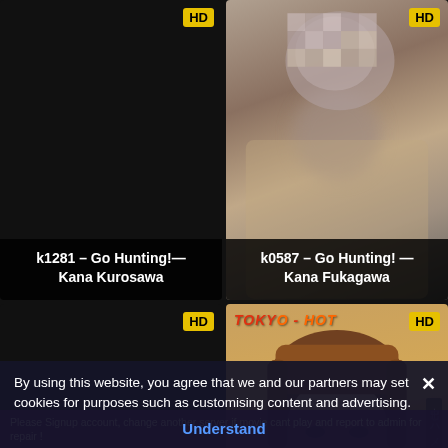[Figure (screenshot): Video thumbnail card 1: dark/black placeholder with HD badge. Title: k1281 – Go Hunting!— Kana Kurosawa]
k1281 – Go Hunting!— Kana Kurosawa
[Figure (screenshot): Video thumbnail card 2: blurred adult content image with HD badge. Title: k0587 – Go Hunting! — Kana Fukagawa]
k0587 – Go Hunting! — Kana Fukagawa
[Figure (screenshot): Video thumbnail card 3: dark/black placeholder with HD badge]
[Figure (screenshot): Video thumbnail card 4: Tokyo-Hot branded thumbnail showing a woman with brown hair, HD badge, vertical Japanese text on right side]
By using this website, you agree that we and our partners may set cookies for purposes such as customising content and advertising.
Understand
Please Signup account, change another server if movie cant play and report to admin for repair !